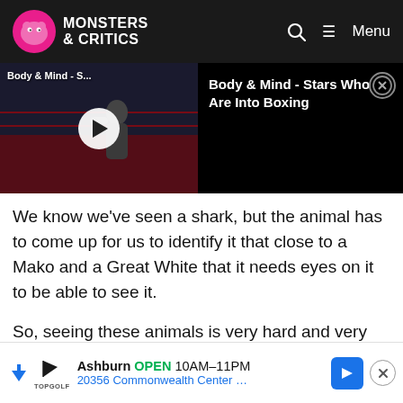Monsters & Critics
[Figure (screenshot): Video player thumbnail showing boxing scene with play button, titled 'Body & Mind - Stars Who Are Into Boxing']
We know we've seen a shark, but the animal has to come up for us to identify it that close to a Mako and a Great White that it needs eyes on it to be able to see it.
So, seeing these animals is very hard and very rare. And Lauren and I like to dive into that. Lauren has started a five-year project here in New...
[Figure (screenshot): Advertisement banner: Topgolf Ashburn OPEN 10AM-11PM, 20356 Commonwealth Center...]